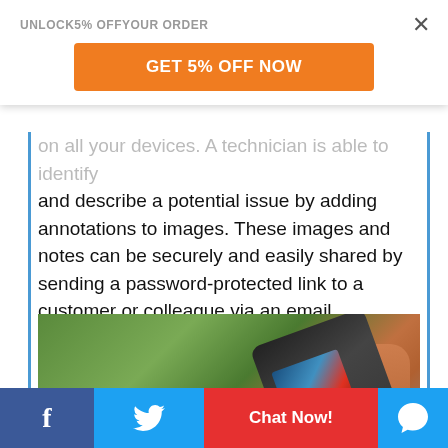UNLOCK5% OFFYOUR ORDER
GET 5% OFF NOW
on all your devices. A technician is able to identify and describe a potential issue by adding annotations to images. These images and notes can be securely and easily shared by sending a password-protected link to a customer or colleague via an email.
[Figure (photo): A hand holding a FLIR thermal imaging camera device, showing a thermal image on the screen, photographed inside a vehicle]
Chat Now!